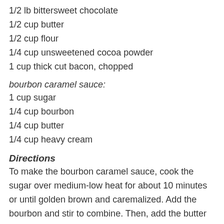1/2 lb bittersweet chocolate
1/2 cup butter
1/2 cup flour
1/4 cup unsweetened cocoa powder
1 cup thick cut bacon, chopped
bourbon caramel sauce:
1 cup sugar
1/4 cup bourbon
1/4 cup butter
1/4 cup heavy cream
Directions
To make the bourbon caramel sauce, cook the sugar over medium-low heat for about 10 minutes or until golden brown and caremalized.  Add the bourbon and stir to combine.  Then, add the butter and cream and stir to combine.  Cook for another 10 minutes, or until the sauce comes together.
To make the bacon brownies, preheat the oven to 350 degrees.